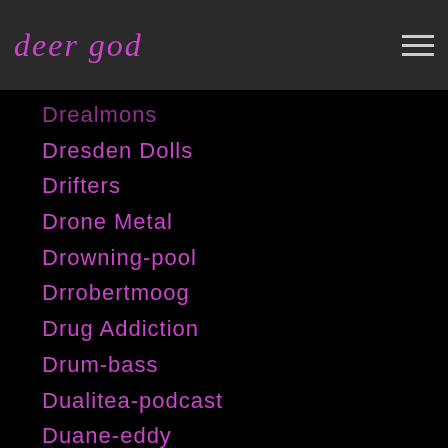deer god
Drealmons
Dresden Dolls
Drifters
Drone Metal
Drowning-pool
Drrobertmoog
Drug Addiction
Drum-bass
Dualitea-podcast
Duane-eddy
Duane Peters
Dub
Dubstep
Duck Sauce
Duffmckagan
Duff-mckagan
Duke Erikson